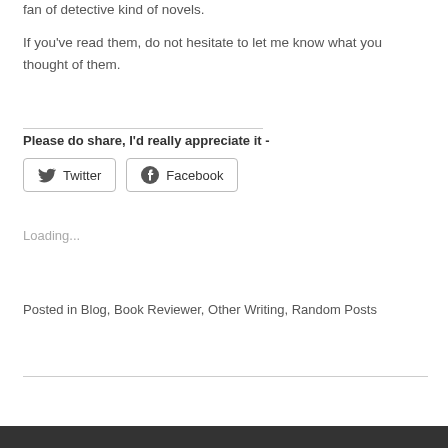fan of detective kind of novels.
If you've read them, do not hesitate to let me know what you thought of them.
Please do share, I'd really appreciate it -
[Figure (other): Twitter and Facebook share buttons]
Loading...
Posted in Blog, Book Reviewer, Other Writing, Random Posts